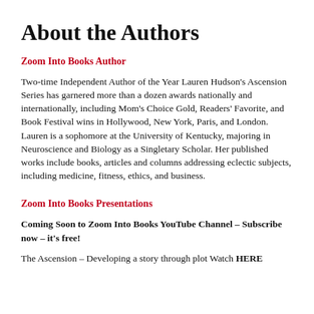About the Authors
Zoom Into Books Author
Two-time Independent Author of the Year Lauren Hudson's Ascension Series has garnered more than a dozen awards nationally and internationally, including Mom's Choice Gold, Readers' Favorite, and Book Festival wins in Hollywood, New York, Paris, and London. Lauren is a sophomore at the University of Kentucky, majoring in Neuroscience and Biology as a Singletary Scholar. Her published works include books, articles and columns addressing eclectic subjects, including medicine, fitness, ethics, and business.
Zoom Into Books Presentations
Coming Soon to Zoom Into Books YouTube Channel – Subscribe now – it's free!
The Ascension – Developing a story through plot Watch HERE